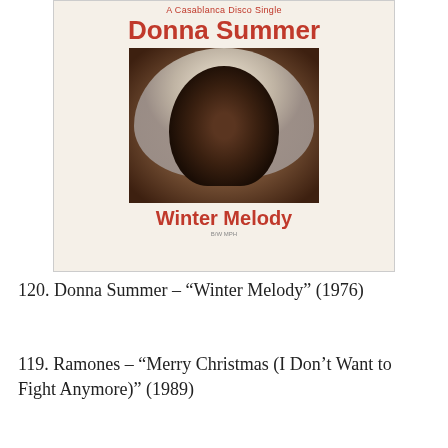[Figure (photo): Album cover for Donna Summer 'Winter Melody' (1976) on Casablanca Records. White background with red bold text 'Donna Summer' at top, a photo of Donna Summer wearing a large white fur hood, and 'Winter Melody' in red script at the bottom.]
120. Donna Summer – “Winter Melody” (1976)
119. Ramones – “Merry Christmas (I Don’t Want to Fight Anymore)” (1989)